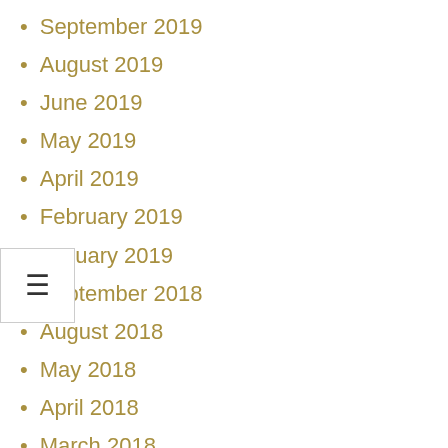September 2019
August 2019
June 2019
May 2019
April 2019
February 2019
January 2019
September 2018
August 2018
May 2018
April 2018
March 2018
January 2018
December 2017
September 2017
August 2017
April 2017
March 2017
January 2017